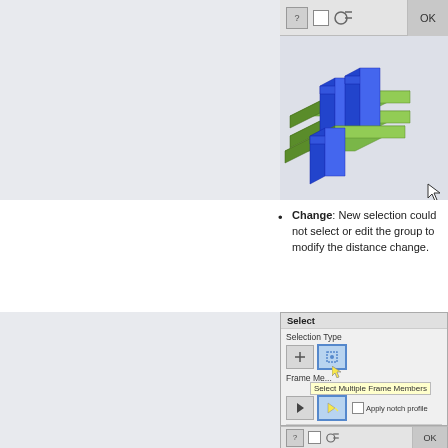[Figure (screenshot): Top portion of an engineering software dialog showing a 3D model with green and blue rectangular structural frame members arranged in a crossing pattern, with a dialog bar at the top containing icons and an OK button.]
Change: New selection could not select or edit the group to modify the distance change.
[Figure (screenshot): Engineering software 'Select' dialog panel showing Selection Type buttons (single and multiple frame member), Frame Member selection buttons with cursor arrow icons, a tooltip reading 'Select Multiple Frame Members', an 'Apply notch profile' checkbox, a 'Delete existing end treatment(s)' checkbox, and a bottom dialog bar with OK button.]